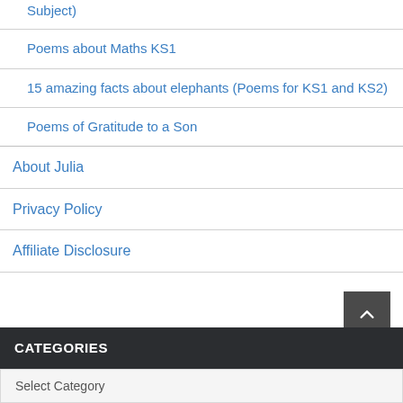Subject)
Poems about Maths KS1
15 amazing facts about elephants (Poems for KS1 and KS2)
Poems of Gratitude to a Son
About Julia
Privacy Policy
Affiliate Disclosure
CATEGORIES
Select Category